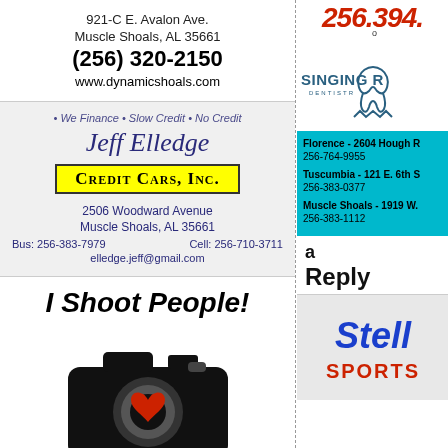[Figure (other): Dynamic Shoals advertisement with address 921-C E. Avalon Ave., Muscle Shoals, AL 35661, phone (256) 320-2150, website www.dynamicshoals.com]
[Figure (other): Credit Cars Inc. advertisement for Jeff Elledge. We Finance, Slow Credit, No Credit. 2506 Woodward Avenue, Muscle Shoals, AL 35661. Bus: 256-383-7979, Cell: 256-710-3711, elledge.jeff@gmail.com]
[Figure (other): Photography business ad with text 'I SHOOT PEOPLE!' and a camera icon with heart]
[Figure (other): Singing River Dentistry partial ad with red phone number 256.394. and teal/cyan logo area]
[Figure (other): Singing River Dentistry locations: Florence - 2604 Hough R, 256-764-9955; Tuscumbia - 121 E. 6th S, 256-383-0377; Muscle Shoals - 1919 W., 256-383-1112]
a
Reply
[Figure (other): Stella Sports partial advertisement showing blue and red stylized text]